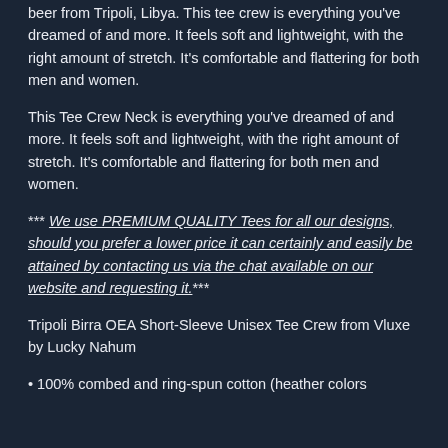beer from Tripoli, Libya. This tee crew is everything you've dreamed of and more. It feels soft and lightweight, with the right amount of stretch. It's comfortable and flattering for both men and women.
This Tee Crew Neck is everything you've dreamed of and more. It feels soft and lightweight, with the right amount of stretch. It's comfortable and flattering for both men and women.
*** We use PREMIUM QUALITY Tees for all our designs, should you prefer a lower price it can certainly and easily be attained by contacting us via the chat available on our website and requesting it.***
Tripoli Birra OEA Short-Sleeve Unisex Tee Crew from Vluxe by Lucky Nahum
• 100% combed and ring-spun cotton (heather colors